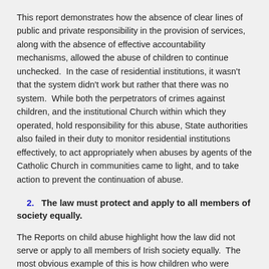This report demonstrates how the absence of clear lines of public and private responsibility in the provision of services, along with the absence of effective accountability mechanisms, allowed the abuse of children to continue unchecked.  In the case of residential institutions, it wasn't that the system didn't work but rather that there was no system.  While both the perpetrators of crimes against children, and the institutional Church within which they operated, hold responsibility for this abuse, State authorities also failed in their duty to monitor residential institutions effectively, to act appropriately when abuses by agents of the Catholic Church in communities came to light, and to take action to prevent the continuation of abuse.
2.  The law must protect and apply to all members of society equally.
The Reports on child abuse highlight how the law did not serve or apply to all members of Irish society equally.  The most obvious example of this is how children who were...